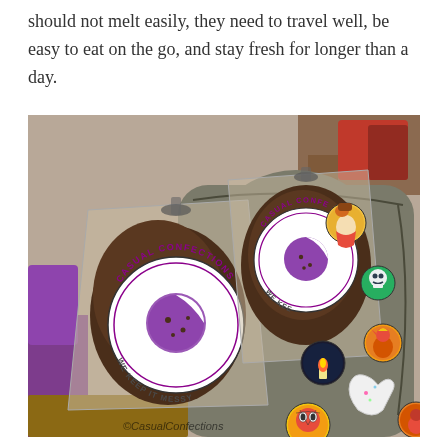should not melt easily, they need to travel well, be easy to eat on the go, and stay fresh for longer than a day.
[Figure (photo): Photo of two clear plastic bags of brownies/cookies labeled 'Casual Confections – We Keep It Messy' with circular logo stickers showing a purple cookie, placed on a gray canvas backpack decorated with several colorful enamel pins/buttons. Watermark reads ©CasualConfections.]